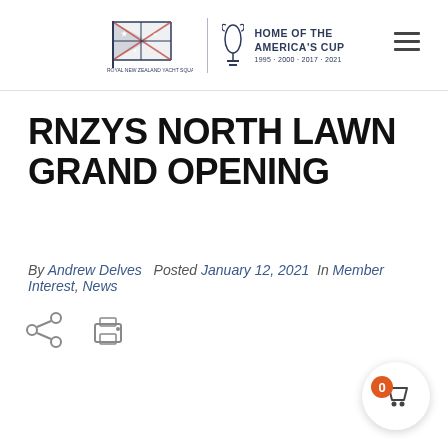ROYAL NEW ZEALAND YACHT SQUADRON | HOME OF THE AMERICA'S CUP 1995 · 2000 · 2017 · 2021
RNZYS NORTH LAWN GRAND OPENING
By Andrew Delves  Posted January 12, 2021  In Member Interest, News
[Figure (other): Share icon and print icon buttons]
[Figure (other): Shopping cart badge with orange circle showing 0 items]